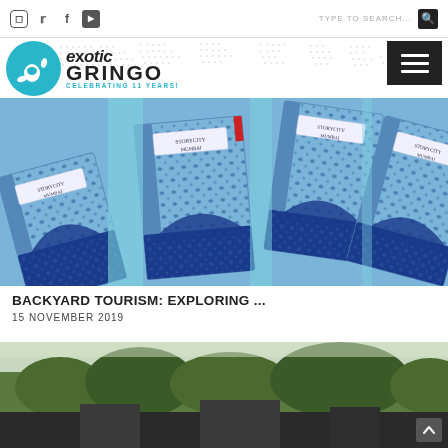Exotic Gringo — Celebrating 11 Years! | TYPE TO SEARCH...
[Figure (logo): Exotic Gringo website logo: teal circle with shaka hand sign, 'exotic GRINGO' text with tagline 'CELEBRATING 11 YEARS!']
[Figure (photo): Blue decorative books or notebooks with ornate floral pattern covers, labeled STORYCITY MUMBAI]
BACKYARD TOURISM: EXPLORING ...
15 NOVEMBER 2019
[Figure (photo): Partial view of a building or monument with trees in background, partially visible at bottom of page]